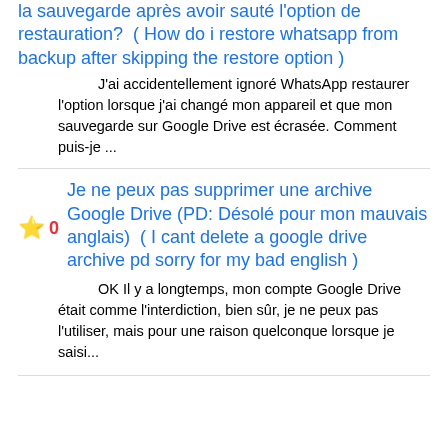la sauvegarde après avoir sauté l'option de restauration?  ( How do i restore whatsapp from backup after skipping the restore option )
J'ai accidentellement ignoré WhatsApp restaurer l'option lorsque j'ai changé mon appareil et que mon sauvegarde sur Google Drive est écrasée. Comment puis-je ...
⭐ 0  Je ne peux pas supprimer une archive Google Drive (PD: Désolé pour mon mauvais anglais)  ( I cant delete a google drive archive pd sorry for my bad english )
OK Il y a longtemps, mon compte Google Drive était comme l'interdiction, bien sûr, je ne peux pas l'utiliser, mais pour une raison quelconque lorsque je saisi...